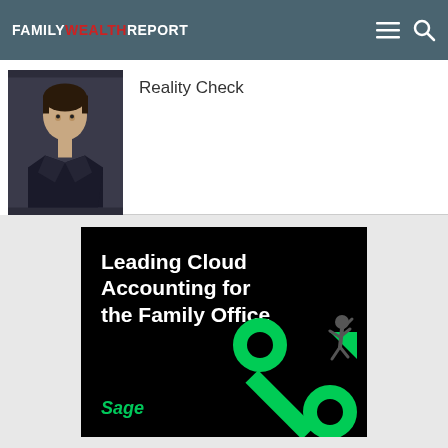FAMILY WEALTH REPORT
Reality Check
[Figure (illustration): Sage advertisement: Leading Cloud Accounting for the Family Office, black background with green percent sign graphic and a figure climbing an arrow, Sage logo in green italic.]